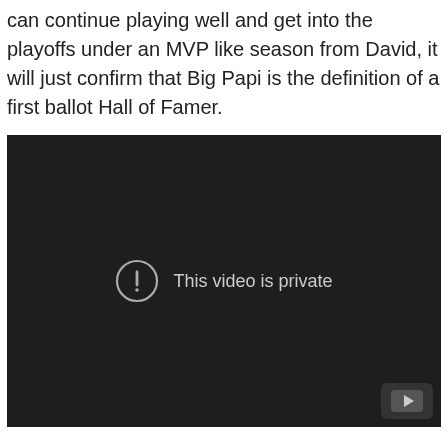America's game. It may be a little early, but if Boston can continue playing well and get into the playoffs under an MVP like season from David, it will just confirm that Big Papi is the definition of a first ballot Hall of Famer.
[Figure (screenshot): Embedded video player showing 'This video is private' message on a dark background with YouTube logo in the bottom right corner.]